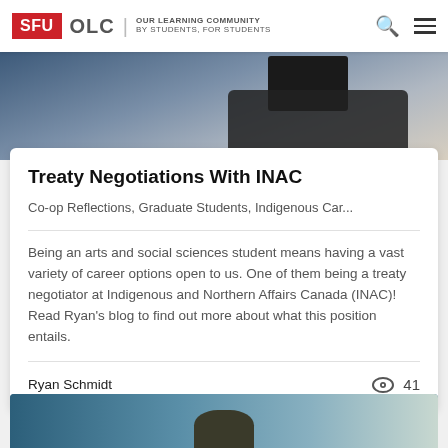SFU OLC | OUR LEARNING COMMUNITY BY STUDENTS, FOR STUDENTS
[Figure (photo): Photo of a person sitting at a desk with a keyboard and monitor visible]
Treaty Negotiations With INAC
Co-op Reflections, Graduate Students, Indigenous Car...
Being an arts and social sciences student means having a vast variety of career options open to us. One of them being a treaty negotiator at Indigenous and Northern Affairs Canada (INAC)! Read Ryan's blog to find out more about what this position entails.
Ryan Schmidt
41
[Figure (photo): Partial photo of a rocky island or mountain in water at the bottom of the page]